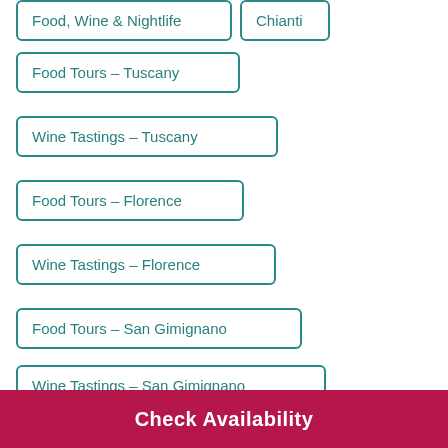Food, Wine & Nightlife
Chianti
Food Tours - Tuscany
Wine Tastings - Tuscany
Food Tours - Florence
Wine Tastings - Florence
Food Tours - San Gimignano
Wine Tastings - San Gimignano
Category
Check Availability